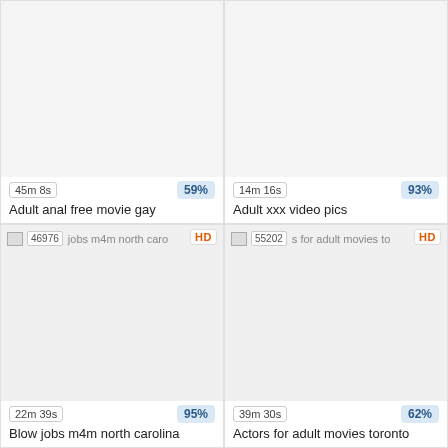[Figure (screenshot): Video thumbnail placeholder - white area]
45m 8s
59%
Adult anal free movie gay
[Figure (screenshot): Video thumbnail placeholder - white area]
14m 16s
93%
Adult xxx video pics
[Figure (screenshot): Broken image thumbnail with id 46976, HD badge, title: Blow jobs m4m north carolina]
22m 39s
95%
Blow jobs m4m north carolina
[Figure (screenshot): Broken image thumbnail with id 55202, HD badge, title: Actors for adult movies toronto]
39m 30s
62%
Actors for adult movies toronto